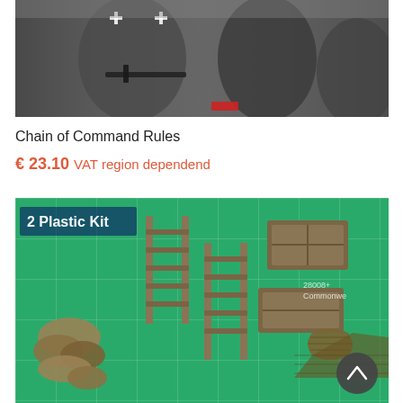[Figure (photo): Close-up photo of miniature figures with WWII German military uniforms and markings, holding weapons. Black and white cross insignia visible on uniforms.]
Chain of Command Rules
€ 23.10 VAT region dependend
[Figure (photo): Photo of a plastic kit on a green cutting mat showing various miniature model parts including ladders, crates, and sandbags. Text overlay reads '2 Plastic Kit' and partially visible text 'Commonwe' with a product code '28008+'.]